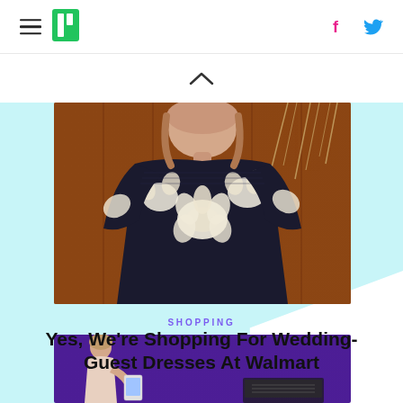HuffPost navigation with hamburger menu, logo, Facebook and Twitter icons
[Figure (photo): Woman wearing a black floral dress with white/cream large flower print, smudged/crinkled fabric texture, photographed outdoors in front of wooden fence backdrop with dried grasses]
SHOPPING
Yes, We're Shopping For Wedding-Guest Dresses At Walmart
[Figure (photo): Woman with blonde hair looking at something, against a purple/violet gradient background with what appears to be a laptop or device]